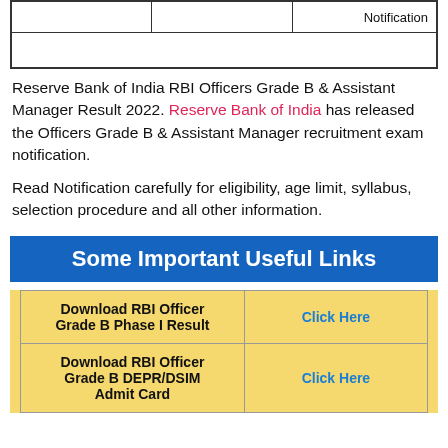|  |  | Notification |
| --- | --- | --- |
|  |  |  |
|  |  |  |
Reserve Bank of India RBI Officers Grade B & Assistant Manager Result 2022. Reserve Bank of India has released the Officers Grade B & Assistant Manager recruitment exam notification.
Read Notification carefully for eligibility, age limit, syllabus, selection procedure and all other information.
Some Important Useful Links
|  |  |
| --- | --- |
| Download RBI Officer Grade B Phase I Result | Click Here |
| Download RBI Officer Grade B DEPR/DSIM Admit Card | Click Here |